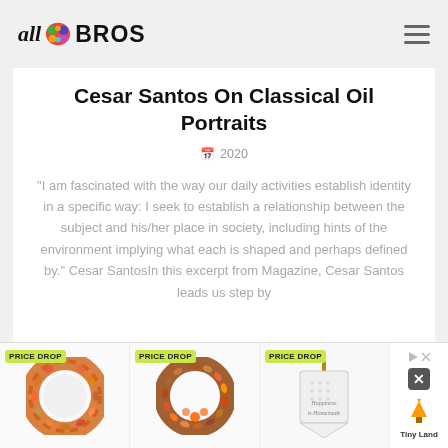all BROS
Cesar Santos On Classical Oil Portraits
2020
“I am fascinated with the way our daily activities establish identity in a specific way: I seek to establish a relationship between the subject and his/her place in society, including hints of the environment implying what each is shaped and perhaps defined by.” Cesar SantosIn this excerpt from Magazine, Cesar Santos leads us step by
[Figure (photo): Advertisement banner with three product images showing autumn/fall wreaths with PRICE DROP badges, and a Toy Land logo on the right side.]